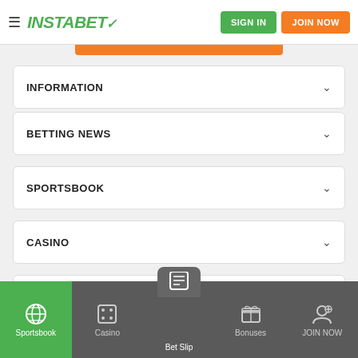INSTABET — SIGN IN | JOIN NOW
INFORMATION
BETTING NEWS
SPORTSBOOK
CASINO
CONNECT
[Figure (logo): Trust badge icons: Norton Secured, Mastercard, Secure SSL, Bitcoin/crypto, 18+, TRUSTe Certified Privacy]
Sportsbook | Casino | Bet Slip | Bonuses | JOIN NOW